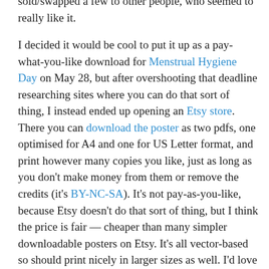sold/swapped a few to other people, who seemed to really like it.
I decided it would be cool to put it up as a pay-what-you-like download for Menstrual Hygiene Day on May 28, but after overshooting that deadline researching sites where you can do that sort of thing, I instead ended up opening an Etsy store.  There you can download the poster as two pdfs, one optimised for A4 and one for US Letter format, and print however many copies you like, just as long as you don't make money from them or remove the credits (it's BY-NC-SA). It's not pay-as-you-like, because Etsy doesn't do that sort of thing, but I think the price is fair — cheaper than many simpler downloadable posters on Etsy. It's all vector-based so should print nicely in larger sizes as well. I'd love to see this on toilet walls all over the place.
If you have any accessibility related questions or...